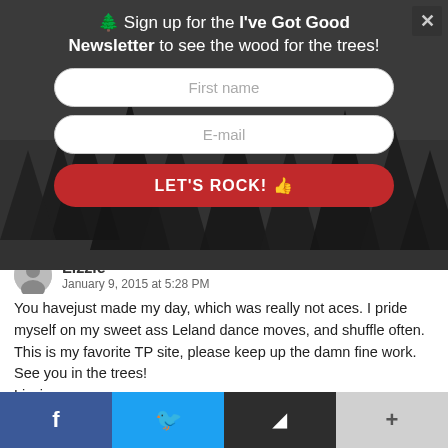[Figure (screenshot): Newsletter signup banner overlay with dark forest background, showing title text, two input fields (First name, E-mail), and a red CTA button (LET'S ROCK!)]
Lizzie
January 9, 2015 at 5:28 PM
You havejust made my day, which was really not aces. I pride myself on my sweet ass Leland dance moves, and shuffle often. This is my favorite TP site, please keep up the damn fine work. See you in the trees!
Lizzie
Reply
[Figure (infographic): Social sharing bar with four buttons: Facebook (blue), Twitter (light blue), Reddit (dark), and a plus/more button (grey)]